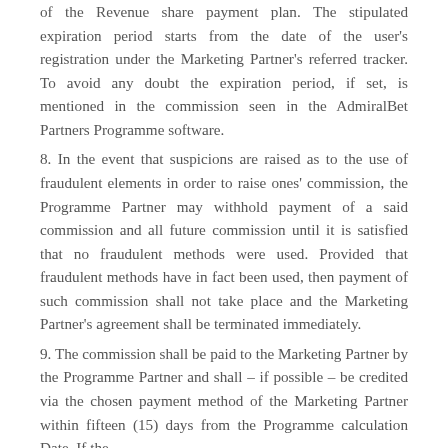of the Revenue share payment plan. The stipulated expiration period starts from the date of the user's registration under the Marketing Partner's referred tracker. To avoid any doubt the expiration period, if set, is mentioned in the commission seen in the AdmiralBet Partners Programme software.
8. In the event that suspicions are raised as to the use of fraudulent elements in order to raise ones' commission, the Programme Partner may withhold payment of a said commission and all future commission until it is satisfied that no fraudulent methods were used. Provided that fraudulent methods have in fact been used, then payment of such commission shall not take place and the Marketing Partner's agreement shall be terminated immediately.
9. The commission shall be paid to the Marketing Partner by the Programme Partner and shall – if possible – be credited via the chosen payment method of the Marketing Partner within fifteen (15) days from the Programme calculation Date. If the...